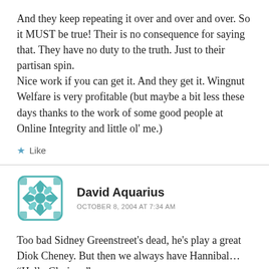And they keep repeating it over and over and over. So it MUST be true! Their is no consequence for saying that. They have no duty to the truth. Just to their partisan spin.
Nice work if you can get it. And they get it. Wingnut Welfare is very profitable (but maybe a bit less these days thanks to the work of some good people at Online Integrity and little ol' me.)
Like
[Figure (logo): Teal geometric snowflake/quilt pattern avatar for David Aquarius]
David Aquarius
OCTOBER 8, 2004 AT 7:34 AM
Too bad Sidney Greenstreet's dead, he's play a great Diok Cheney. But then we always have Hannibal… “Hello Clarisse.”